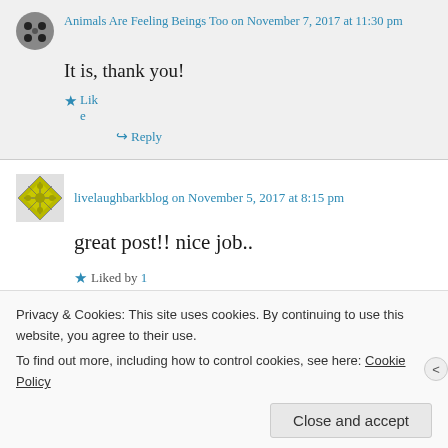Animals Are Feeling Beings Too on November 7, 2017 at 11:30 pm
It is, thank you!
Like
Reply
livelaughbarkblog on November 5, 2017 at 8:15 pm
great post!! nice job..
Liked by 1
Privacy & Cookies: This site uses cookies. By continuing to use this website, you agree to their use. To find out more, including how to control cookies, see here: Cookie Policy
Close and accept